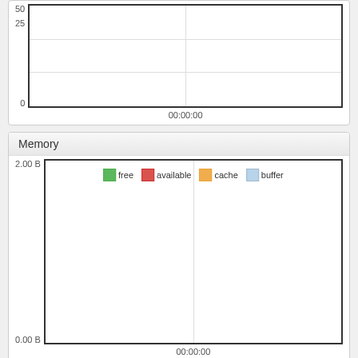[Figure (continuous-plot): Top chart panel (partial, cropped at top) showing y-axis values 0, 25, 50 and x-axis label 00:00:00. Empty chart area with grid lines.]
Memory
[Figure (continuous-plot): Memory chart panel showing y-axis values 0.00 B and 2.00 B, x-axis label 00:00:00. Legend with four series: free (green), available (red), cache (yellow), buffer (light blue). Empty chart area with grid lines.]